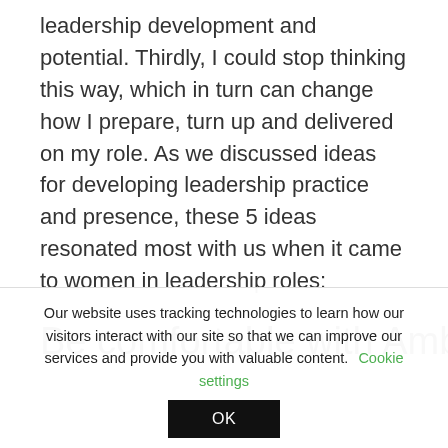leadership development and potential. Thirdly, I could stop thinking this way, which in turn can change how I prepare, turn up and delivered on my role. As we discussed ideas for developing leadership practice and presence, these 5 ideas resonated most with us when it came to women in leadership roles:
Be comfortable with Ambition
Our website uses tracking technologies to learn how our visitors interact with our site so that we can improve our services and provide you with valuable content. Cookie settings
OK